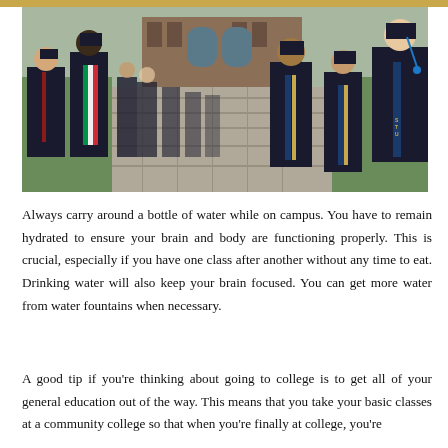[Figure (photo): College graduates in black caps and gowns walking in a procession on a stone path, some wearing colorful sashes and stoles, with a brick building in the background.]
Always carry around a bottle of water while on campus. You have to remain hydrated to ensure your brain and body are functioning properly. This is crucial, especially if you have one class after another without any time to eat. Drinking water will also keep your brain focused. You can get more water from water fountains when necessary.
A good tip if you’re thinking about going to college is to get all of your general education out of the way. This means that you take your basic classes at a community college so that when you’re finally at college, you’re